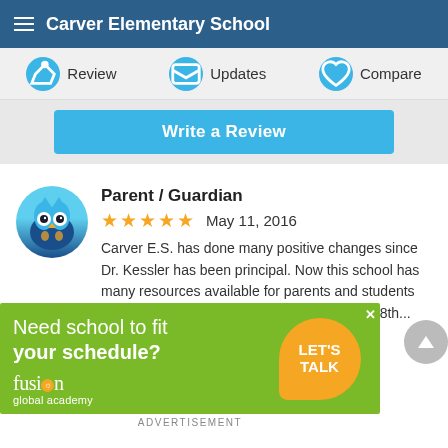Carver Elementary School
Review  Updates  Compare
Write a Review
Parent / Guardian
★★★★★  May 11, 2016
Carver E.S. has done many positive changes since Dr. Kessler has been principal. Now this school has many resources available for parents and students he has achieved for the school to have up to 8th...
More
[Figure (screenshot): Advertisement for Fusion Global Academy with green background, yellow speech bubble with 'LET'S TALK', text 'Need school to fit your schedule?' and Fusion Global Academy logo]
ADVERTISEMENT